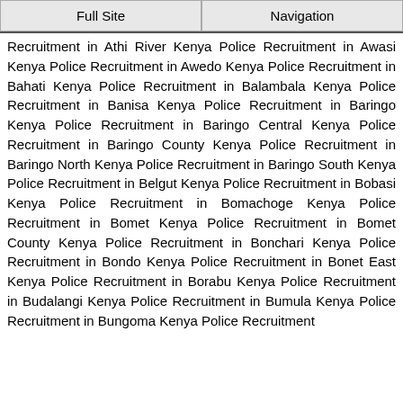Full Site | Navigation
Recruitment in Athi River Kenya Police Recruitment in Awasi Kenya Police Recruitment in Awedo Kenya Police Recruitment in Bahati Kenya Police Recruitment in Balambala Kenya Police Recruitment in Banisa Kenya Police Recruitment in Baringo Kenya Police Recruitment in Baringo Central Kenya Police Recruitment in Baringo County Kenya Police Recruitment in Baringo North Kenya Police Recruitment in Baringo South Kenya Police Recruitment in Belgut Kenya Police Recruitment in Bobasi Kenya Police Recruitment in Bomachoge Kenya Police Recruitment in Bomet Kenya Police Recruitment in Bomet County Kenya Police Recruitment in Bonchari Kenya Police Recruitment in Bondo Kenya Police Recruitment in Bonet East Kenya Police Recruitment in Borabu Kenya Police Recruitment in Budalangi Kenya Police Recruitment in Bumula Kenya Police Recruitment in Bungoma Kenya Police Recruitment